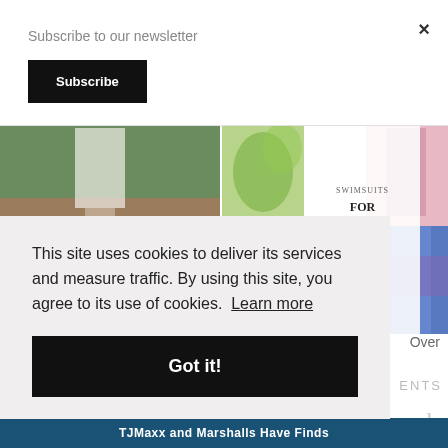Subscribe to our newsletter
Subscribe
[Figure (photo): Woman in white top and beige pants standing on wooden deck/boardwalk outdoors]
[Figure (photo): Collage of swimsuits for women over 50, with text overlay reading 'SWIMSUITS FOR WOMEN OVER 50']
This site uses cookies to deliver its services and measure traffic. By using this site, you agree to its use of cookies. Learn more
Got it!
TJMaxx and Marshalls Have Finds